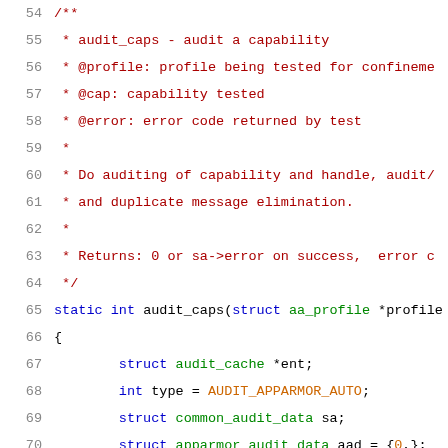54  /**
55   * audit_caps - audit a capability
56   * @profile: profile being tested for confinement
57   * @cap: capability tested
58   * @error: error code returned by test
59   *
60   * Do auditing of capability and handle, audit/c
61   * and duplicate message elimination.
62   *
63   * Returns: 0 or sa->error on success,  error c
64   */
65 static int audit_caps(struct aa_profile *profile
66 {
67         struct audit_cache *ent;
68         int type = AUDIT_APPARMOR_AUTO;
69         struct common_audit_data sa;
70         struct apparmor_audit_data aad = {0,};
71         sa.type = LSM_AUDIT_DATA_CAP;
72         sa.aad = &aad;
73         sa.u.cap = cap;
74         sa.aad->op = OP_CAPABLE;
75         sa.aad->error = error;